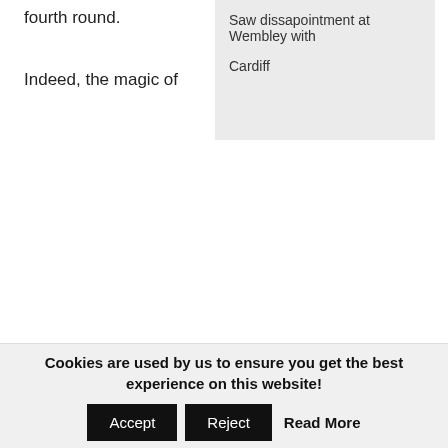fourth round.
Saw dissapointment at Wembley with Cardiff
Indeed, the magic of
Cookies are used by us to ensure you get the best experience on this website! Accept Reject Read More